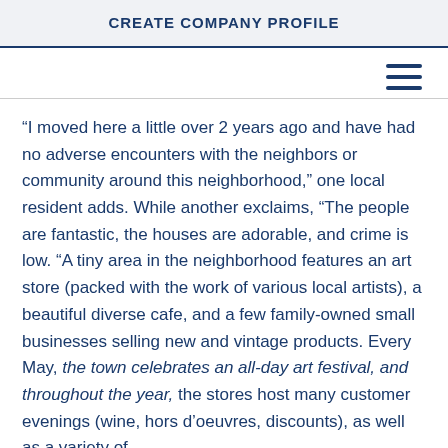CREATE COMPANY PROFILE
[Figure (other): Hamburger menu icon (three horizontal lines) in dark blue, positioned top right]
“I moved here a little over 2 years ago and have had no adverse encounters with the neighbors or community around this neighborhood,” one local resident adds. While another exclaims, “The people are fantastic, the houses are adorable, and crime is low. “A tiny area in the neighborhood features an art store (packed with the work of various local artists), a beautiful diverse cafe, and a few family-owned small businesses selling new and vintage products. Every May, the town celebrates an all-day art festival, and throughout the year, the stores host many customer evenings (wine, hors d’oeuvres, discounts), as well as a variety of